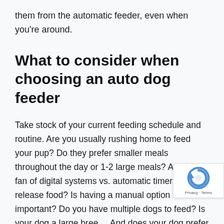them from the automatic feeder, even when you're around.
What to consider when choosing an auto dog feeder
Take stock of your current feeding schedule and routine. Are you usually rushing home to feed your pup? Do they prefer smaller meals throughout the day or 1-2 large meals? Are you a fan of digital systems vs. automatic timers that release food? Is having a manual option important? Do you have multiple dogs to feed? Is your dog a large breed? And does your dog prefer dry dog food or wet (or both)? The answers to these questions will all